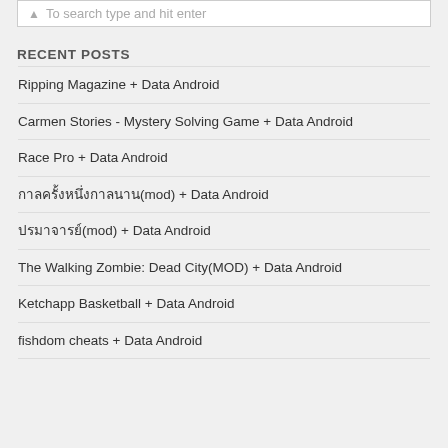To search type and hit enter
RECENT POSTS
Ripping Magazine + Data Android
Carmen Stories - Mystery Solving Game + Data Android
Race Pro + Data Android
กาลครั้งหนึ่ง(mod) + Data Android
ปรมาจารย์(mod) + Data Android
The Walking Zombie: Dead City(MOD) + Data Android
Ketchapp Basketball + Data Android
fishdom cheats + Data Android